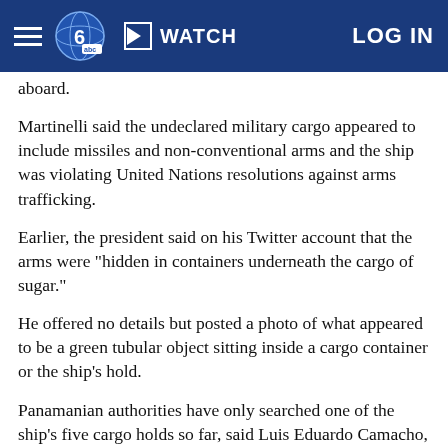WATCH  LOG IN
aboard.
Martinelli said the undeclared military cargo appeared to include missiles and non-conventional arms and the ship was violating United Nations resolutions against arms trafficking.
Earlier, the president said on his Twitter account that the arms were "hidden in containers underneath the cargo of sugar."
He offered no details but posted a photo of what appeared to be a green tubular object sitting inside a cargo container or the ship's hold.
Panamanian authorities have only searched one of the ship's five cargo holds so far, said Luis Eduardo Camacho, a spokesman for the president.